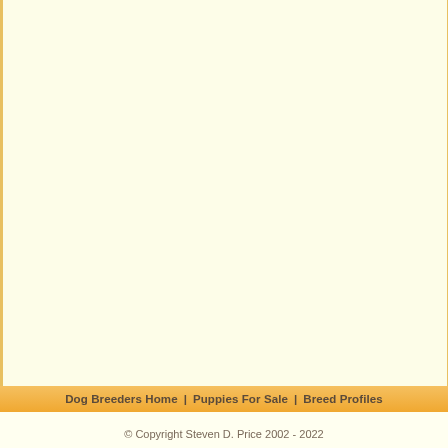Dog Breeders Home | Puppies For Sale | Breed Profiles
© Copyright Steven D. Price 2002 - 2022